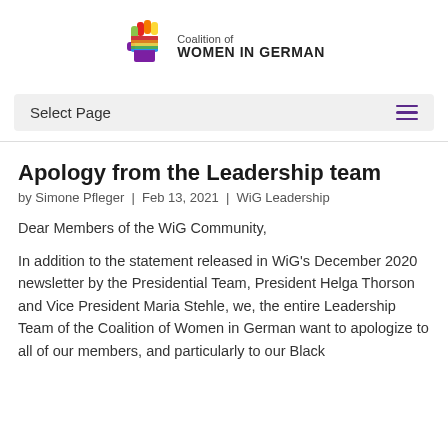[Figure (logo): Coalition of Women in German logo — a raised fist in rainbow colors (red, orange, yellow, green, blue, purple) with the text 'Coalition of' above and 'WOMEN IN GERMAN' in bold below]
Select Page
Apology from the Leadership team
by Simone Pfleger | Feb 13, 2021 | WiG Leadership
Dear Members of the WiG Community,
In addition to the statement released in WiG's December 2020 newsletter by the Presidential Team, President Helga Thorson and Vice President Maria Stehle, we, the entire Leadership Team of the Coalition of Women in German want to apologize to all of our members, and particularly to our Black